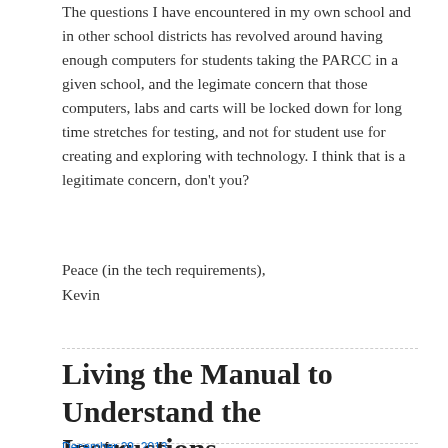The questions I have encountered in my own school and in other school districts has revolved around having enough computers for students taking the PARCC in a given school, and the legimate concern that those computers, labs and carts will be locked down for long time stretches for testing, and not for student use for creating and exploring with technology. I think that is a legitimate concern, don't you?
Peace (in the tech requirements),
Kevin
Living the Manual to Understand the Instructions
December 29, 2013